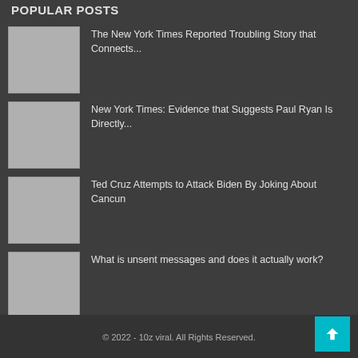POPULAR POSTS
The New York Times Reported Troubling Story that Connects...
New York Times: Evidence that Suggests Paul Ryan Is Directly...
Ted Cruz Attempts to Attack Biden By Joking About Cancun
What is unsent messages and does it actually work?
© 2022 - 10z viral. All Rights Reserved.